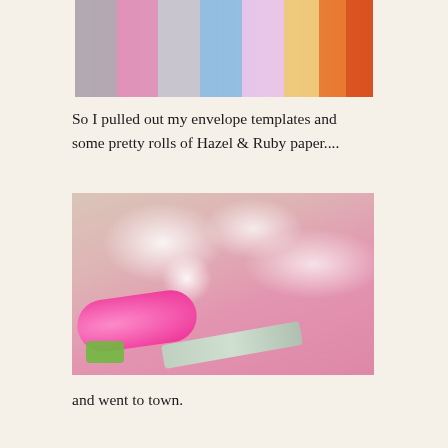[Figure (photo): Colorful rolls of patterned paper including pink polka dot, floral, and chevron designs standing upright]
So I pulled out my envelope templates and some pretty rolls of Hazel & Ruby paper....
[Figure (photo): A craft workspace with scissors, pink polka dot paper rolls, white paper cut-outs, paper doilies, envelope templates, and crafting supplies scattered on a pink cutting mat]
and went to town.